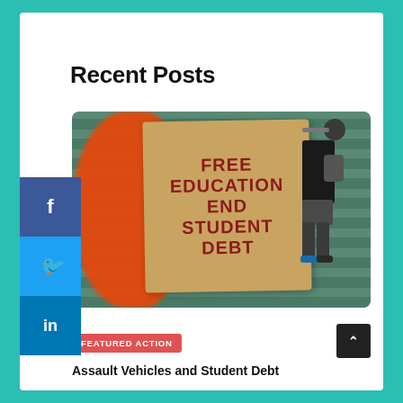Recent Posts
[Figure (photo): Protest photo showing a cardboard sign reading 'FREE EDUCATION END STUDENT DEBT' with an orange object in the foreground and a person standing in the background near stadium bleachers.]
FEATURED ACTION
Assault Vehicles and Student Debt